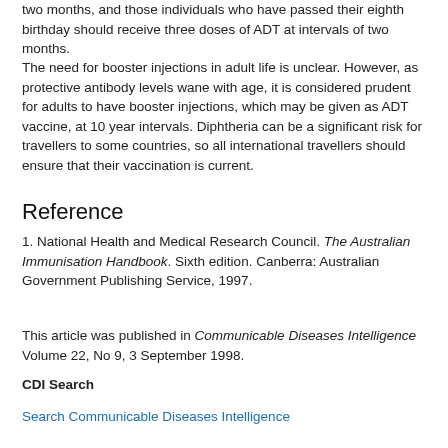two months, and those individuals who have passed their eighth birthday should receive three doses of ADT at intervals of two months.
The need for booster injections in adult life is unclear. However, as protective antibody levels wane with age, it is considered prudent for adults to have booster injections, which may be given as ADT vaccine, at 10 year intervals. Diphtheria can be a significant risk for travellers to some countries, so all international travellers should ensure that their vaccination is current.
Reference
1. National Health and Medical Research Council. The Australian Immunisation Handbook. Sixth edition. Canberra: Australian Government Publishing Service, 1997.
This article was published in Communicable Diseases Intelligence Volume 22, No 9, 3 September 1998.
CDI Search
Search Communicable Diseases Intelligence